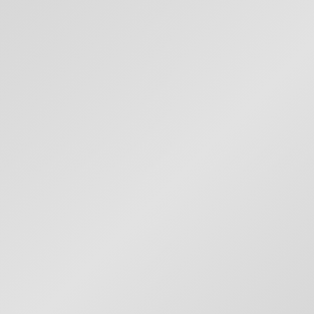Championship
Langley, BC Ca
Jun 13 2019 — Pacific Distance Canadian 10,0 Championship
Burnaby, BC Ca
Jun 8-9 2019 — 2019 Jesse Be Meet
Coquitlam, BC C
Jun 8-9 2019 — CVAC Garriock
Duncan, BC Ca
Jun 8-9 2019 — Spruce Capita Meet
Prince George,
Jun 6 2019 — Throwers Su
Kamloops, BC C